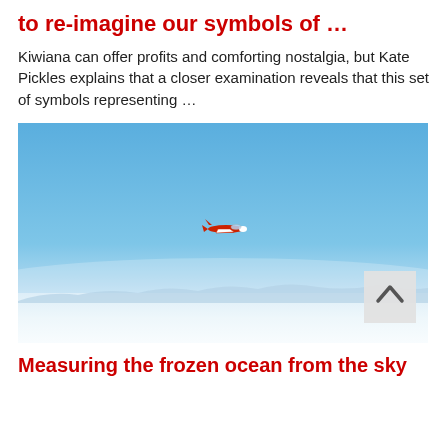to re-imagine our symbols of …
Kiwiana can offer profits and comforting nostalgia, but Kate Pickles explains that a closer examination reveals that this set of symbols representing …
[Figure (photo): A red aeroplane flying in a clear blue sky over a frozen icy ocean landscape with mountains in the background. A scroll-up button is overlaid in the bottom-right corner of the image.]
Measuring the frozen ocean from the sky